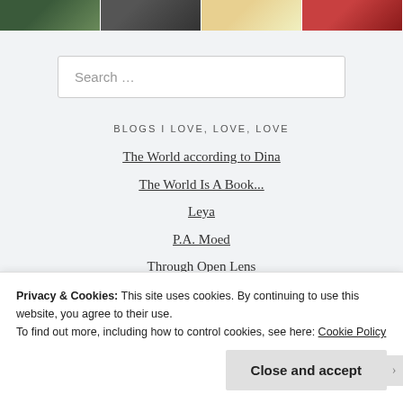[Figure (photo): Row of four thumbnail images at the top of the page: green foliage, dark rainy scene with text overlay, yellow/cream object, red flower]
Search …
BLOGS I LOVE, LOVE, LOVE
The World according to Dina
The World Is A Book...
Leya
P.A. Moed
Through Open Lens
Soul On Rice
Privacy & Cookies: This site uses cookies. By continuing to use this website, you agree to their use.
To find out more, including how to control cookies, see here: Cookie Policy
Close and accept